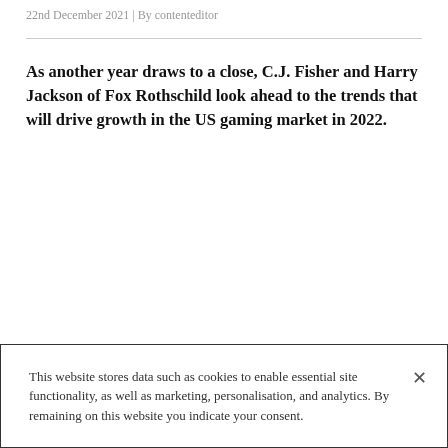22nd December 2021 | By contenteditor
As another year draws to a close, C.J. Fisher and Harry Jackson of Fox Rothschild look ahead to the trends that will drive growth in the US gaming market in 2022.
This website stores data such as cookies to enable essential site functionality, as well as marketing, personalisation, and analytics. By remaining on this website you indicate your consent.